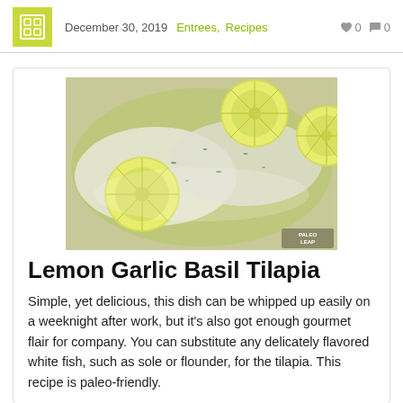December 30, 2019  Entrees, Recipes  ♥ 0  💬 0
[Figure (photo): Close-up photo of lemon garlic basil tilapia fish fillets topped with lemon slices and herbs, with Paleo Leap watermark in the corner]
Lemon Garlic Basil Tilapia
Simple, yet delicious, this dish can be whipped up easily on a weeknight after work, but it's also got enough gourmet flair for company. You can substitute any delicately flavored white fish, such as sole or flounder, for the tilapia. This recipe is paleo-friendly.